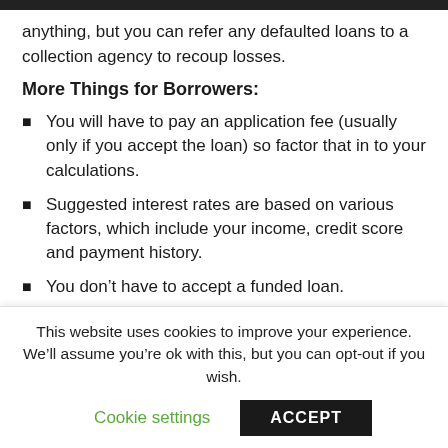anything, but you can refer any defaulted loans to a collection agency to recoup losses.
More Things for Borrowers:
You will have to pay an application fee (usually only if you accept the loan) so factor that in to your calculations.
Suggested interest rates are based on various factors, which include your income, credit score and payment history.
You don’t have to accept a funded loan.
This loan will show up on your credit report
This website uses cookies to improve your experience. We’ll assume you’re ok with this, but you can opt-out if you wish.
Cookie settings   ACCEPT